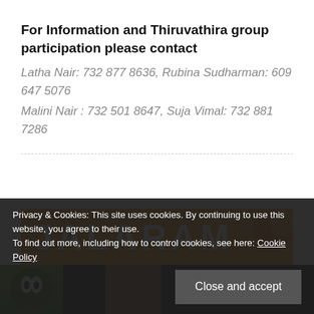For Information and Thiruvathira group participation please contact
Latha Nair: 732 877 8636, Rubina Sudharman: 609 647 5076
Malini Nair : 732 501 8647, Suja Vimal: 732 881 7286
[Figure (photo): Orange banner with white bold text reading JALARAM, with a partial decorative graphic on the right side.]
Privacy & Cookies: This site uses cookies. By continuing to use this website, you agree to their use. To find out more, including how to control cookies, see here: Cookie Policy
Close and accept
[Figure (photo): Bottom image strip showing partial images including a green decorative figure on the left and other dark/brown images.]